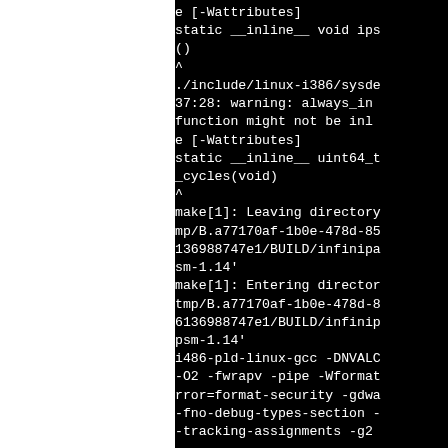e [-Wattributes]
static __inline__ void ips
()
^
./include/linux-i386/sysde
37:28: warning: always_in
function might not be inl
e [-Wattributes]
static __inline__ uint64_t
_cycles(void)
^
make[1]: Leaving directory
mp/B.a77170af-1b0e-478d-85
136988747e1/BUILD/infinipa
sm-1.14'
make[1]: Entering director
tmp/B.a77170af-1b0e-478d-8
6136988747e1/BUILD/infinip
psm-1.14'
i486-pld-linux-gcc -DNVALC
-O2 -fwrapv -pipe -Wformat
rror=format-security -gdwa
-fno-debug-types-section -
-tracking-assignments -g2